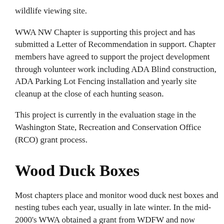wildlife viewing site.
WWA NW Chapter is supporting this project and has submitted a Letter of Recommendation in support. Chapter members have agreed to support the project development through volunteer work including ADA Blind construction, ADA Parking Lot Fencing installation and yearly site cleanup at the close of each hunting season.
This project is currently in the evaluation stage in the Washington State, Recreation and Conservation Office (RCO) grant process.
Wood Duck Boxes
Most chapters place and monitor wood duck nest boxes and nesting tubes each year, usually in late winter. In the mid-2000's WWA obtained a grant from WDFW and now maintains a statewide wood duck nest box database. Anyone